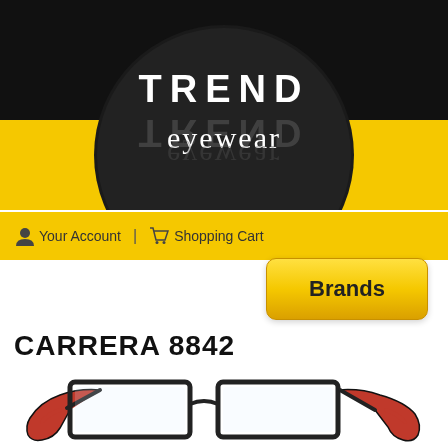[Figure (logo): Trend Eyewear logo: circular dark background with 'TREND' in white bold letters and 'eyewear' in white serif letters below, both with mirror reflections, set against a yellow and black banner background]
Your Account  |  Shopping Cart
Brands
CARRERA 8842
[Figure (photo): Carrera 8842 eyeglasses with black rectangular metal frames and red/black patterned temples]